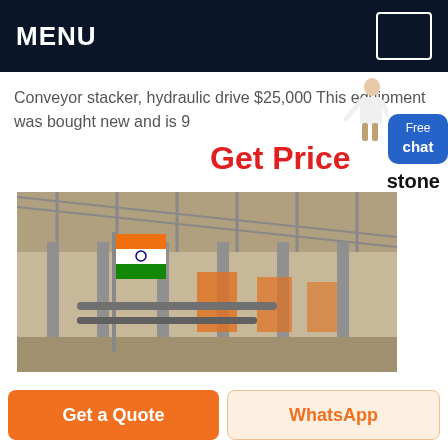MENU
Conveyor stacker, hydraulic drive $25,000 This equipment was bought new and is 9
Get Price
Free chat
stone
[Figure (photo): Warehouse or industrial facility interior with steel structure and an Indian flag on a flagpole]
Get a Quote
WhatsApp